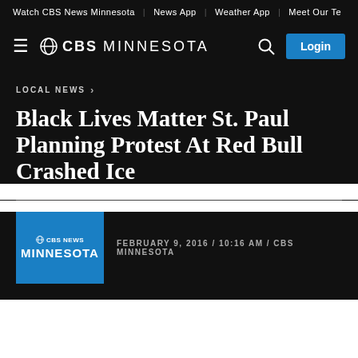Watch CBS News Minnesota | News App | Weather App | Meet Our Te
[Figure (logo): CBS Minnesota logo with hamburger menu, search icon, and Login button on dark background]
LOCAL NEWS ›
Black Lives Matter St. Paul Planning Protest At Red Bull Crashed Ice
FEBRUARY 9, 2016 / 10:16 AM / CBS MINNESOTA